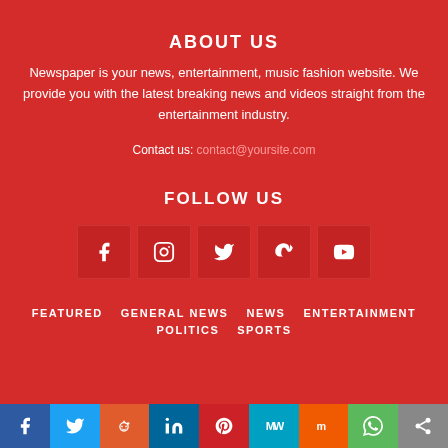ABOUT US
Newspaper is your news, entertainment, music fashion website. We provide you with the latest breaking news and videos straight from the entertainment industry.
Contact us: contact@yoursite.com
FOLLOW US
[Figure (infographic): Row of 5 social media icon boxes: Facebook, Instagram, Twitter, VK, YouTube]
FEATURED
GENERAL NEWS
NEWS
ENTERTAINMENT
POLITICS
SPORTS
Social sharing bar: Facebook, Twitter, Reddit, LinkedIn, Pinterest, MW, Mix, WhatsApp, Share